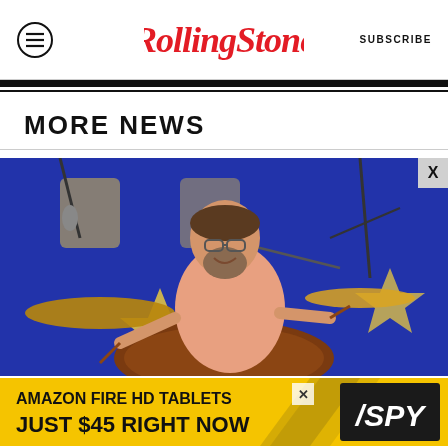Rolling Stone | SUBSCRIBE
MORE NEWS
[Figure (photo): A bearded man with glasses playing drums on stage in front of a blue banner with yellow stars and letters. He is wearing a salmon/peach colored shirt and holding drumsticks, smiling.]
[Figure (other): Advertisement banner: AMAZON FIRE HD TABLETS JUST $45 RIGHT NOW - SPY logo]